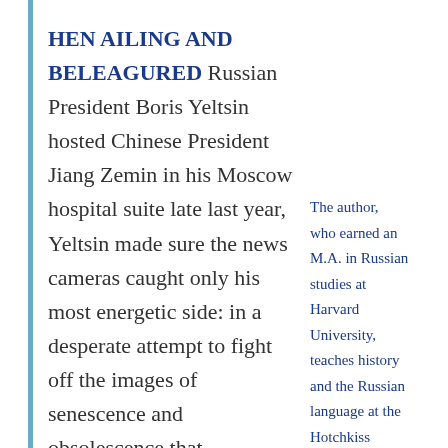HEN AILING AND BELEAGURED Russian President Boris Yeltsin hosted Chinese President Jiang Zemin in his Moscow hospital suite late last year, Yeltsin made sure the news cameras caught only his most energetic side: in a desperate attempt to fight off the images of senescence and obsolescence that
The author, who earned an M.A. in Russian studies at Harvard University, teaches history and the Russian language at the Hotchkiss School in Connecticut. A frequent visitor